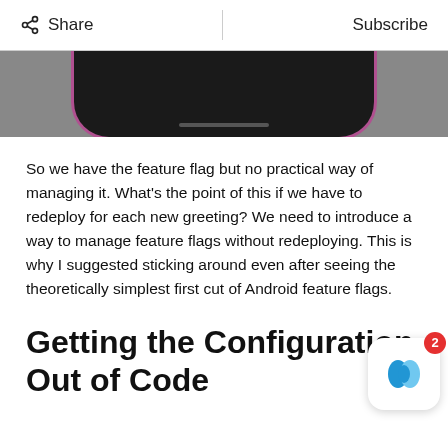Share | Subscribe
[Figure (photo): Bottom portion of an Android phone with dark body and pink/purple border on a gray background]
So we have the feature flag but no practical way of managing it.  What's the point of this if we have to redeploy for each new greeting?  We need to introduce a way to manage feature flags without redeploying.  This is why I suggested sticking around even after seeing the theoretically simplest first cut of Android feature flags.
Getting the Configuration Out of Code